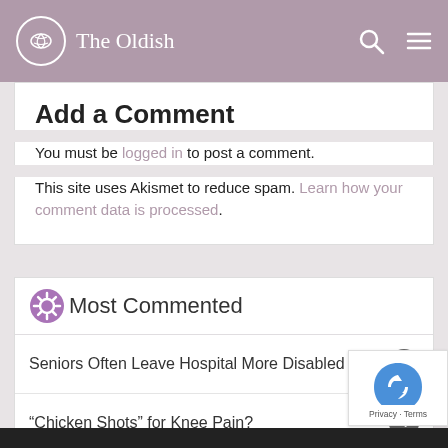The Oldish
Add a Comment
You must be logged in to post a comment.
This site uses Akismet to reduce spam. Learn how your comment data is processed.
Most Commented
Seniors Often Leave Hospital More Disabled — 8
“Chicken Shots” for Knee Pain? — 4
Opening Jars, Bottles & Packaging — 3